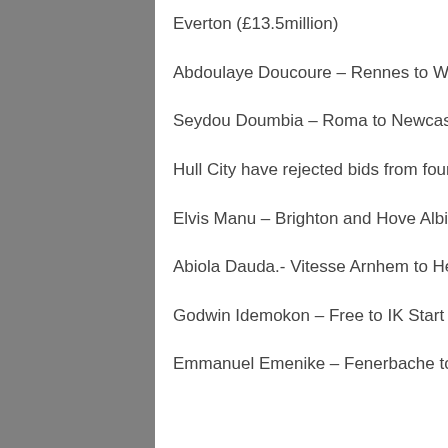Everton (£13.5million)
Abdoulaye Doucoure – Rennes to Watford for undisclosed fee
Seydou Doumbia – Roma to Newcastle United on loan
Hull City have rejected bids from four Championship clubs to take Nigeria's Sone Aluko on loan
Elvis Manu – Brighton and Hove Albion to Huddersfield on loan
Abiola Dauda.- Vitesse Arnhem to Hearts on loan
Godwin Idemokon – Free to IK Start (Norway)
Emmanuel Emenike – Fenerbache to West Ham on loan